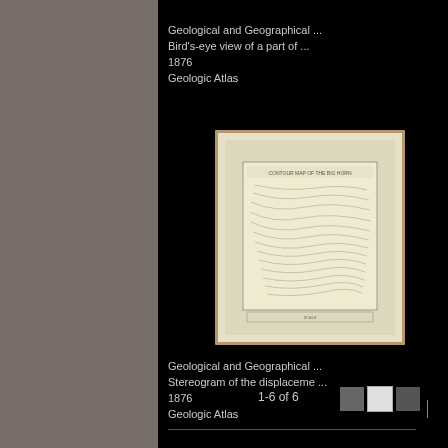Geological and Geographical ...
Bird's-eye view of a part of ...
1876
Geologic Atlas
[Figure (photo): Scan of an open book showing a geological atlas page with a bird's-eye view topographic illustration and border frame on aged cream paper]
Geological and Geographical ...
Stereogram of the displaceme ...
1876
Geologic Atlas
1-6 of 6